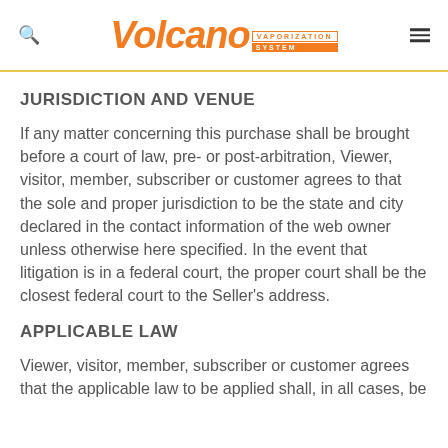Volcano Vaporization System
JURISDICTION AND VENUE
If any matter concerning this purchase shall be brought before a court of law, pre- or post-arbitration, Viewer, visitor, member, subscriber or customer agrees to that the sole and proper jurisdiction to be the state and city declared in the contact information of the web owner unless otherwise here specified. In the event that litigation is in a federal court, the proper court shall be the closest federal court to the Seller's address.
APPLICABLE LAW
Viewer, visitor, member, subscriber or customer agrees that the applicable law to be applied shall, in all cases, be